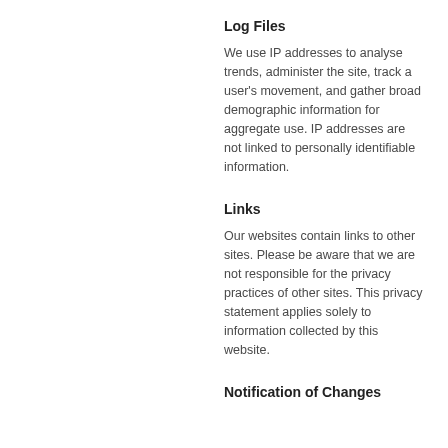Log Files
We use IP addresses to analyse trends, administer the site, track a user's movement, and gather broad demographic information for aggregate use. IP addresses are not linked to personally identifiable information.
Links
Our websites contain links to other sites. Please be aware that we are not responsible for the privacy practices of other sites. This privacy statement applies solely to information collected by this website.
Notification of Changes